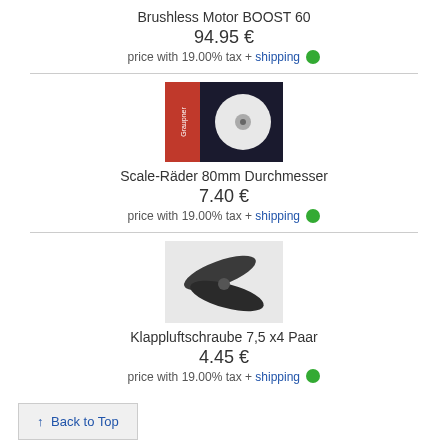Brushless Motor BOOST 60
94.95 €
price with 19.00% tax + shipping
[Figure (photo): Product photo of Scale-Räder 80mm Durchmesser (scale wheels 80mm diameter) in packaging]
Scale-Räder 80mm Durchmesser
7.40 €
price with 19.00% tax + shipping
[Figure (photo): Product photo of Klappluftschraube 7,5 x4 Paar (folding propeller 7.5x4 pair)]
Klappluftschraube 7,5 x4 Paar
4.45 €
price with 19.00% tax + shipping
↑ Back to Top